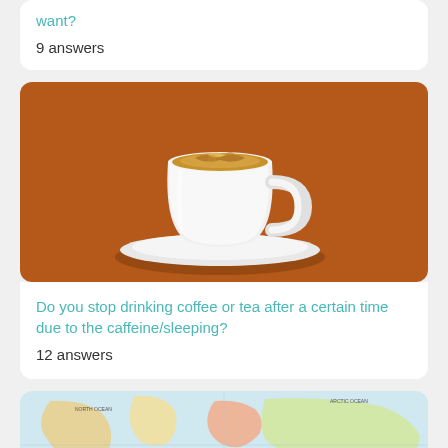want?
9 answers
[Figure (photo): A white cappuccino cup with latte art on a white saucer, set against an orange/brown background]
Do you stop drinking coffee or tea after a certain time due to the caffeine/sleeping?
12 answers
[Figure (map): A vintage-style world map showing continents with pastel colors]